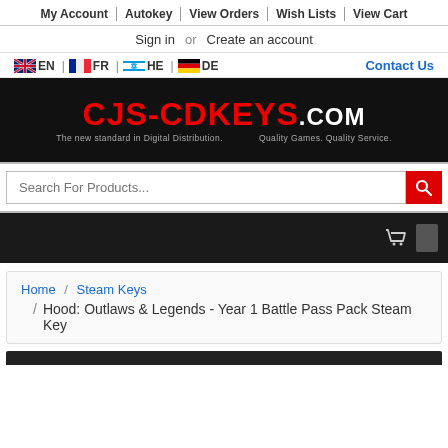My Account | Autokey | View Orders | Wish Lists | View Cart
Sign in  or  Create an account
EN | FR | HE | DE    Contact Us
[Figure (logo): CJS-CDKEYS.COM logo on black background with tagline: The new standard in Digital Distribution. Quality Games. Quality Service.]
Search For Products...
Home / Steam Keys / Hood: Outlaws & Legends - Year 1 Battle Pass Pack Steam Key